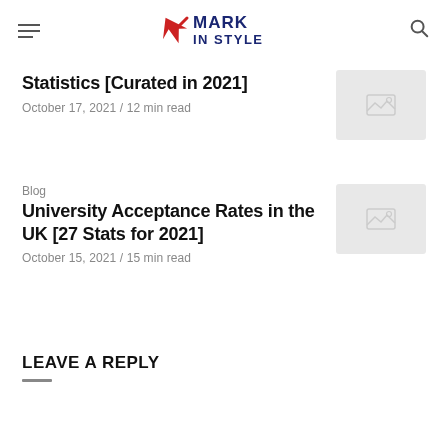Mark In Style
Statistics [Curated in 2021]
October 17, 2021 / 12 min read
Blog
University Acceptance Rates in the UK [27 Stats for 2021]
October 15, 2021 / 15 min read
LEAVE A REPLY